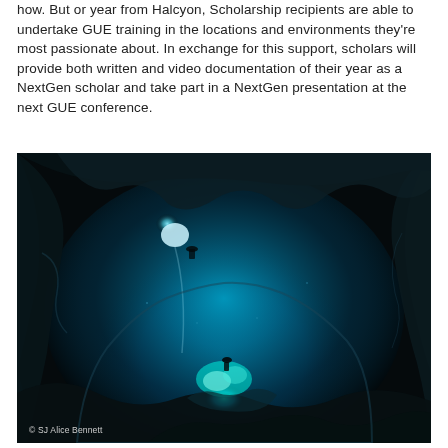how. But or year from Halcyon, Scholarship recipients are able to undertake GUE training in the locations and environments they're most passionate about. In exchange for this support, scholars will provide both written and video documentation of their year as a NextGen scholar and take part in a NextGen presentation at the next GUE conference.
[Figure (photo): Underwater cave diving photograph showing a diver near the top of a large cavern with bright blue bioluminescent or artificial light illuminating the cave interior, rocks, and water. A second diver is visible deeper in the cave. Dark rock walls surround the scene. Photo credit: © SJ Alice Bennett]